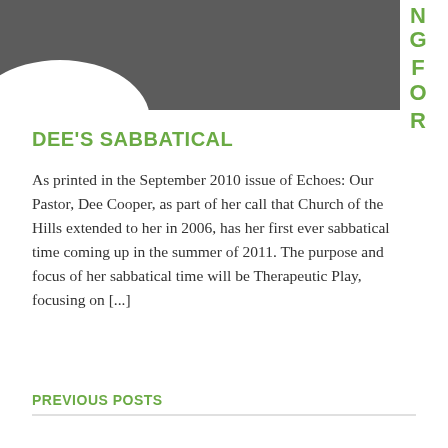[Figure (illustration): Dark gray curved shape / banner at top left of page, with decorative background graphic]
NG
FO
R
DEE'S SABBATICAL
As printed in the September 2010 issue of Echoes: Our Pastor, Dee Cooper, as part of her call that Church of the Hills extended to her in 2006, has her first ever sabbatical time coming up in the summer of 2011. The purpose and focus of her sabbatical time will be Therapeutic Play, focusing on [...]
PREVIOUS POSTS